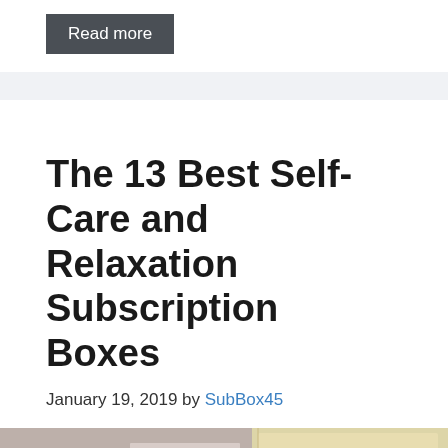Read more
The 13 Best Self-Care and Relaxation Subscription Boxes
January 19, 2019 by SubBox45
[Figure (photo): Flat-lay photo of self-care subscription box items including pink and white cards/pouches with illustrated eye/lash motifs, and a cream/yellow fabric pouch with leaf details on the right side.]